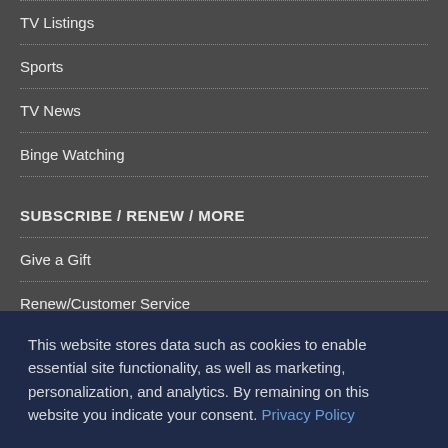TV Listings
Sports
TV News
Binge Watching
SUBSCRIBE / RENEW / MORE
Give a Gift
Renew/Customer Service
FAQs
Contact Us
Magazine Archive
This website stores data such as cookies to enable essential site functionality, as well as marketing, personalization, and analytics. By remaining on this website you indicate your consent. Privacy Policy